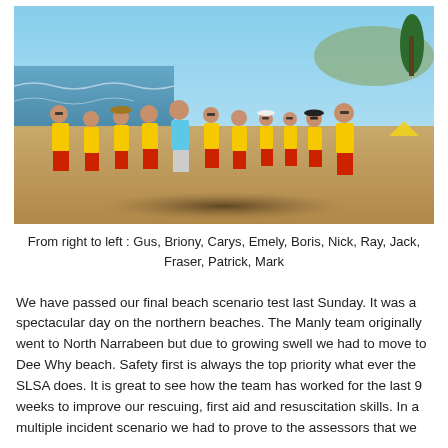[Figure (photo): Group photo of surf lifesavers in yellow and red DHL Surf Rescue uniforms on a beach, with one person in a blue shirt in the centre, blue sky and ocean in background.]
From right to left : Gus, Briony, Carys, Emely, Boris, Nick, Ray, Jack, Fraser, Patrick, Mark
We have passed our final beach scenario test last Sunday. It was a spectacular day on the northern beaches. The Manly team originally went to North Narrabeen but due to growing swell we had to move to Dee Why beach. Safety first is always the top priority what ever the SLSA does. It is great to see how the team has worked for the last 9 weeks to improve our rescuing, first aid and resuscitation skills. In a multiple incident scenario we had to prove to the assessors that we